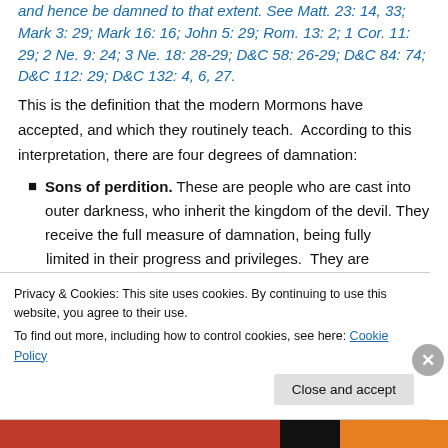and hence be damned to that extent. See Matt. 23: 14, 33; Mark 3: 29; Mark 16: 16; John 5: 29; Rom. 13: 2; 1 Cor. 11: 29; 2 Ne. 9: 24; 3 Ne. 18: 28-29; D&C 58: 26-29; D&C 84: 74; D&C 112: 29; D&C 132: 4, 6, 27.
This is the definition that the modern Mormons have accepted, and which they routinely teach.  According to this interpretation, there are four degrees of damnation:
Sons of perdition. These are people who are cast into outer darkness, who inherit the kingdom of the devil. They receive the full measure of damnation, being fully limited in their progress and privileges. They are
Privacy & Cookies: This site uses cookies. By continuing to use this website, you agree to their use.
To find out more, including how to control cookies, see here: Cookie Policy